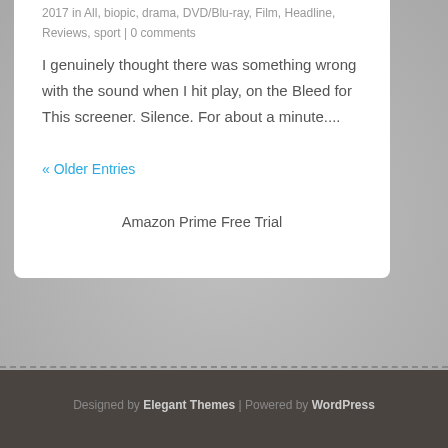2017 in All, biopic, drama, DVD/Blu-ray, Film, Headline, Reviews, sport | 0 comments
I genuinely thought there was something wrong with the sound when I hit play, on the Bleed for This screener. Silence. For about a minute....
« Older Entries
Amazon Prime Free Trial
Designed by Elegant Themes | Powered by WordPress